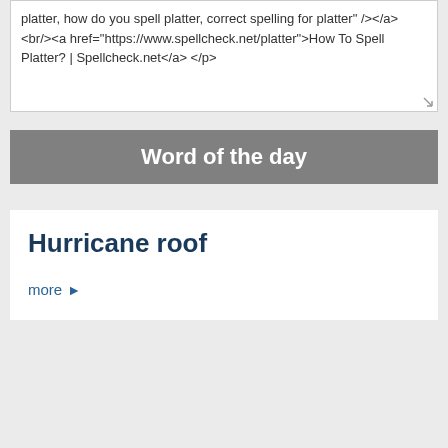platter, how do you spell platter, correct spelling for platter" /></a>
<br/><a href="https://www.spellcheck.net/platter">How To Spell Platter? | Spellcheck.net</a> </p>
Word of the day
Hurricane roof
more ›